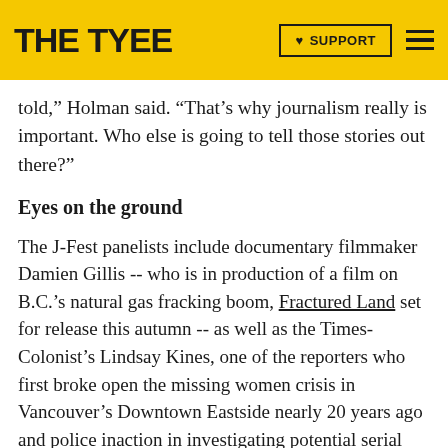THE TYEE | ♥ SUPPORT
told," Holman said. "That's why journalism really is important. Who else is going to tell those stories out there?"
Eyes on the ground
The J-Fest panelists include documentary filmmaker Damien Gillis -- who is in production of a film on B.C.'s natural gas fracking boom, Fractured Land set for release this autumn -- as well as the Times-Colonist's Lindsay Kines, one of the reporters who first broke open the missing women crisis in Vancouver's Downtown Eastside nearly 20 years ago and police inaction in investigating potential serial killers.